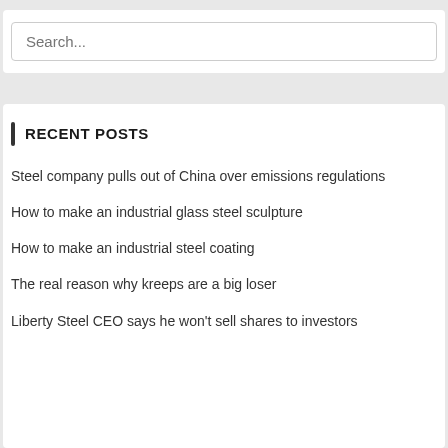Search...
RECENT POSTS
Steel company pulls out of China over emissions regulations
How to make an industrial glass steel sculpture
How to make an industrial steel coating
The real reason why kreeps are a big loser
Liberty Steel CEO says he won't sell shares to investors